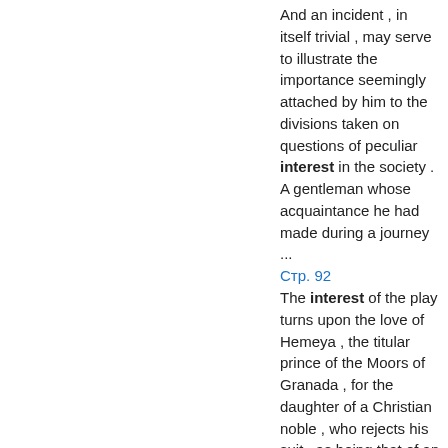And an incident , in itself trivial , may serve to illustrate the importance seemingly attached by him to the divisions taken on questions of peculiar interest in the society . A gentleman whose acquaintance he had made during a journey ...
Стр. 92
The interest of the play turns upon the love of Hemeya , the titular prince of the Moors of Granada , for the daughter of a Christian noble , who rejects his suit , as being that of an Infidel . Pescara , the tyrannical governor of the ...
Стр. 93
Miss O'Neil suppressed